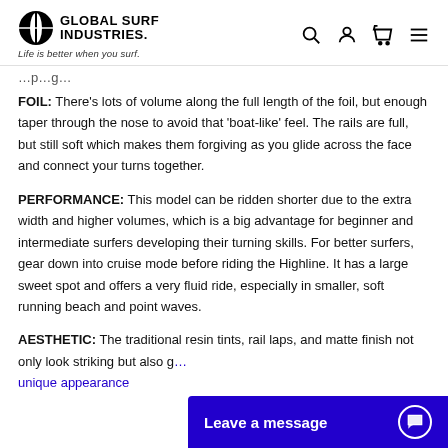Global Surf Industries — Life is better when you surf.
...partial heading text...
FOIL: There’s lots of volume along the full length of the foil, but enough taper through the nose to avoid that ‘boat-like’ feel. The rails are full, but still soft which makes them forgiving as you glide across the face and connect your turns together.
PERFORMANCE: This model can be ridden shorter due to the extra width and higher volumes, which is a big advantage for beginner and intermediate surfers developing their turning skills. For better surfers, gear down into cruise mode before riding the Highline. It has a large sweet spot and offers a very fluid ride, especially in smaller, soft running beach and point waves.
AESTHETIC: The traditional resin tints, rail laps, and matte finish not only look striking but also give each board a completely unique appearance.